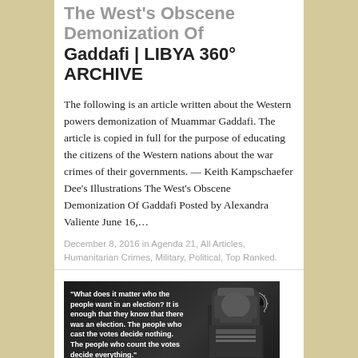The West's Obscene Demonization Of Gaddafi | LIBYA 360° ARCHIVE
The following is an article written about the Western powers demonization of Muammar Gaddafi. The article is copied in full for the purpose of educating the citizens of the Western nations about the war crimes of their governments. — Keith Kampschaefer Dee's Illustrations The West's Obscene Demonization Of Gaddafi Posted by Alexandra Valiente June 16,…
December 8, 2016 in Agenda 21, All Articles, Humanitarian Crimes, Military, Political, Top Ranked.
[Figure (photo): Black and white image with quote attributed to Joseph Stalin: 'What does it matter who the people want in an election? It is enough that they know that there was an election. The people who cast the votes decide nothing. The people who count the votes decide everything.' - Joseph Stalin. Image shows a figure in military uniform with an IHS emblem/logo in the upper right.]